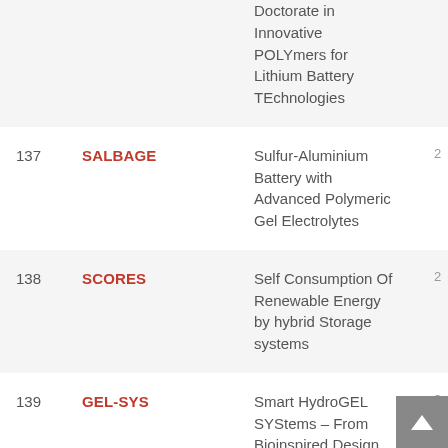| # | Acronym | Full Title |  |
| --- | --- | --- | --- |
|  |  | Doctorate in Innovative POLYmers for Lithium Battery TEchnologies |  |
| 137 | SALBAGE | Sulfur-Aluminium Battery with Advanced Polymeric Gel Electrolytes | 2 |
| 138 | SCORES | Self Consumption Of Renewable Energy by hybrid Storage systems | 2 |
| 139 | GEL-SYS | Smart HydroGEL SYStems – From Bioinspired Design to Soft Electronics and Machines | 2 |